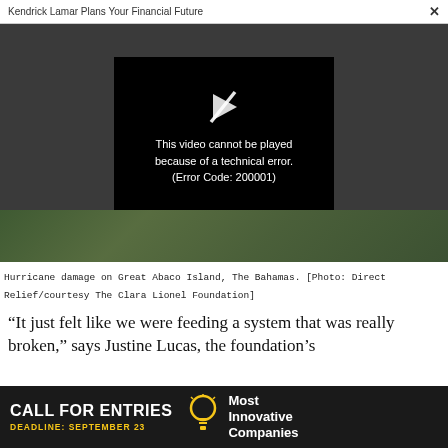Kendrick Lamar Plans Your Financial Future  ×
[Figure (screenshot): Video player showing error message on dark gray background with black error box containing broken play icon and text: This video cannot be played because of a technical error. (Error Code: 200001)]
[Figure (photo): Aerial photo strip showing hurricane damage on Great Abaco Island, The Bahamas]
Hurricane damage on Great Abaco Island, The Bahamas. [Photo: Direct Relief/courtesy The Clara Lionel Foundation]
“It just felt like we were feeding a system that was really broken,” says Justine Lucas, the foundation’s
[Figure (infographic): Advertisement banner: CALL FOR ENTRIES DEADLINE: SEPTEMBER 23 [lightbulb icon] Most Innovative Companies]